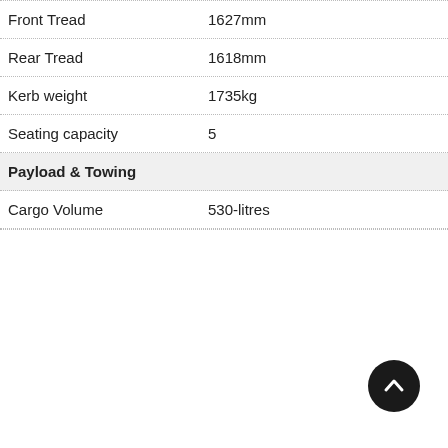| Specification | Value |
| --- | --- |
| Front Tread | 1627mm |
| Rear Tread | 1618mm |
| Kerb weight | 1735kg |
| Seating capacity | 5 |
| Payload & Towing |  |
| Cargo Volume | 530-litres |